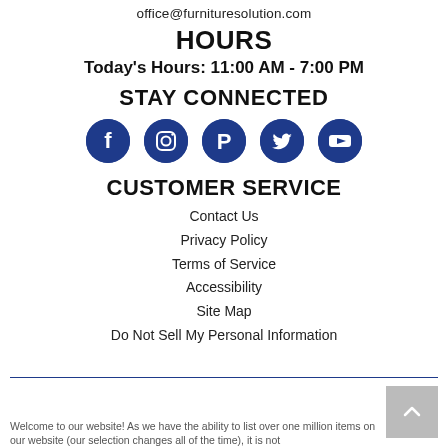office@furnituresolution.com
HOURS
Today's Hours: 11:00 AM - 7:00 PM
STAY CONNECTED
[Figure (infographic): Five social media icon circles (Facebook, Instagram, Pinterest, Twitter, YouTube) in dark blue]
CUSTOMER SERVICE
Contact Us
Privacy Policy
Terms of Service
Accessibility
Site Map
Do Not Sell My Personal Information
Welcome to our website! As we have the ability to list over one million items on our website (our selection changes all of the time), it is not